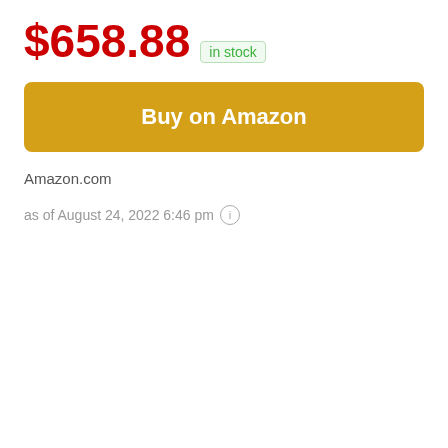$658.88 in stock
Buy on Amazon
Amazon.com
as of August 24, 2022 6:46 pm ℹ